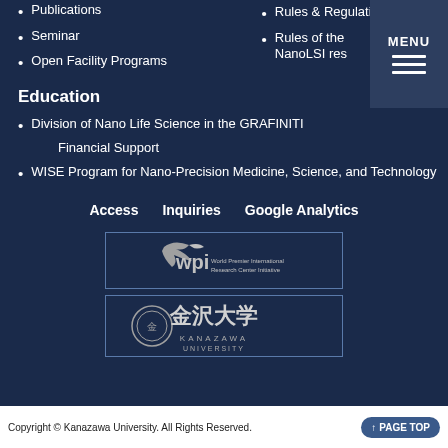Publications
Seminar
Open Facility Programs
Rules & Regulations
Rules of the NanoLSI research building
Education
Division of Nano Life Science in the GRAFINITI
Financial Support
WISE Program for Nano-Precision Medicine, Science, and Technology
Access    Inquiries    Google Analytics
[Figure (logo): WPI - World Premier International Research Center Initiative logo]
[Figure (logo): Kanazawa University logo with Japanese characters 金沢大学]
Copyright © Kanazawa University. All Rights Reserved.    ↑ PAGE TOP